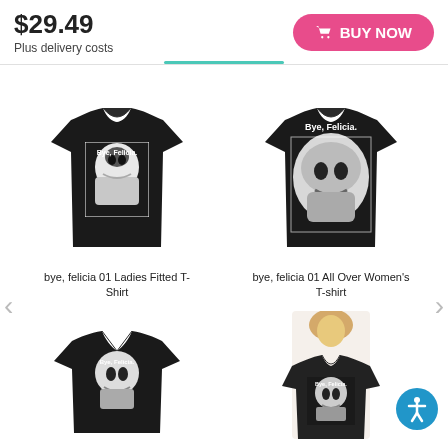$29.49
Plus delivery costs
BUY NOW
[Figure (photo): Black t-shirt with 'Bye, Felicia.' print featuring a face graphic - Ladies Fitted T-Shirt]
bye, felicia 01 Ladies Fitted T-Shirt
[Figure (photo): Black t-shirt with all-over 'Bye, Felicia.' print featuring a large face graphic - All Over Women's T-shirt]
bye, felicia 01 All Over Women's T-shirt
[Figure (photo): Black v-neck t-shirt with 'Bye, Felicia.' print featuring face graphic]
[Figure (photo): Woman wearing black t-shirt with 'Bye, Felicia.' print featuring face graphic]